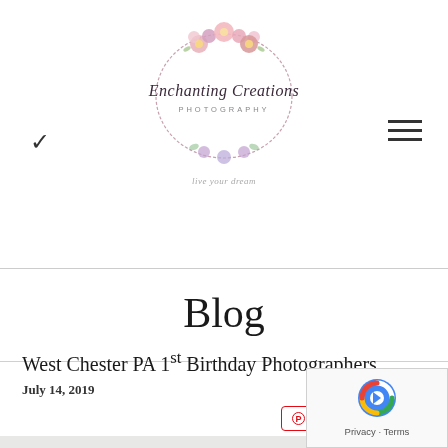[Figure (logo): Enchanting Creations Photography circular floral logo with script text and tagline 'Live your dream']
Blog
West Chester PA 1st Birthday Photographers
July 14, 2019
1 Comment
[Figure (photo): Light gray background photo with a small mint/teal polka-dot balloon, partially visible birthday scene]
[Figure (other): Google reCAPTCHA badge in bottom right corner showing reCAPTCHA logo, Privacy and Terms links]